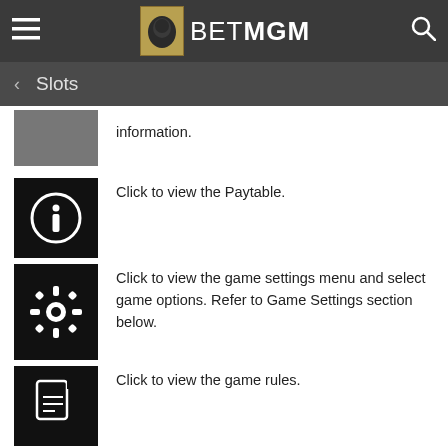BetMGM - Slots
information.
Click to view the Paytable.
Click to view the game settings menu and select game options. Refer to Game Settings section below.
Click to view the game rules.
Click to view your latest game history. Game History (not available when Playing for Fun) Note: The game logs will always display coin rather than cash value: regardless of the mode selected before play. A reminder that a win in